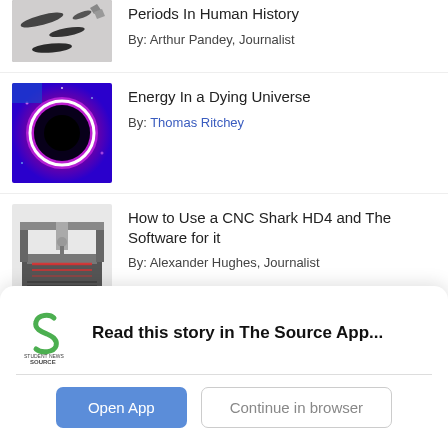[Figure (photo): Black stone/tool artifacts on white background (partially visible at top)]
Periods In Human History
By: Arthur Pandey, Journalist
[Figure (photo): Dark circular black hole surrounded by glowing pink/magenta light on blue background]
Energy In a Dying Universe
By: Thomas Ritchey
[Figure (photo): CNC Shark HD4 machine in workshop setting]
How to Use a CNC Shark HD4 and The Software for it
By: Alexander Hughes, Journalist
[Figure (photo): Blurred orange/gold background with drone or seed shape (partially visible)]
Ultralight Drone Inspired By Maple Seeds
Read this story in The Source App...
Open App
Continue in browser